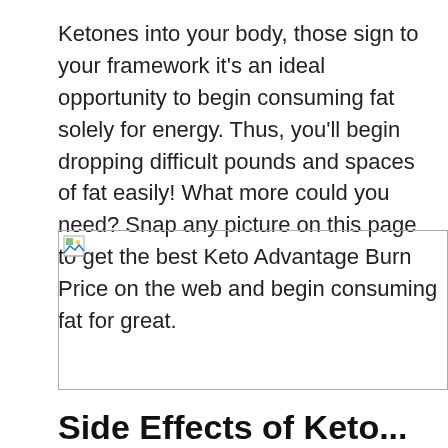Ketones into your body, those sign to your framework it's an ideal opportunity to begin consuming fat solely for energy. Thus, you'll begin dropping difficult pounds and spaces of fat easily! What more could you need? Snap any picture on this page to get the best Keto Advantage Burn Price on the web and begin consuming fat for great.
[Figure (photo): Broken image placeholder (image failed to load)]
Side Effects of Keto...